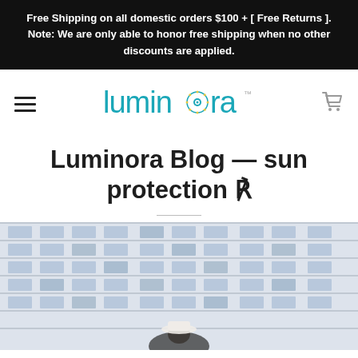Free Shipping on all domestic orders $100 + [ Free Returns ]. Note: We are only able to honor free shipping when no other discounts are applied.
[Figure (logo): Luminora brand logo with teal sun/wheel icon between 'lumin' and 'ra', with trademark symbol]
Luminora Blog — sun protection ᯈ
[Figure (photo): Partial photo of a person wearing a hat in front of a multi-story building with white facade and grid windows]